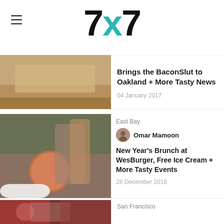7x7
Brings the BaconSlut to Oakland + More Tasty News
04 January 2017
[Figure (photo): Food photo showing a bowl of soup/stew]
East Bay
Omar Mamoon
New Year's Brunch at WesBurger, Free Ice Cream + More Tasty Events
28 December 2016
[Figure (photo): Food photo partially visible at bottom]
San Francisco